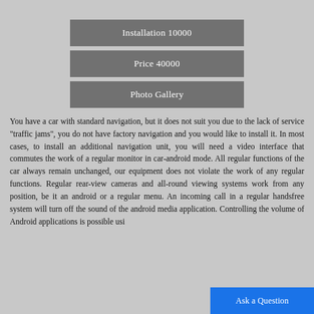Installation 10000
Price 40000
Photo Gallery
You have a car with standard navigation, but it does not suit you due to the lack of service "traffic jams", you do not have factory navigation and you would like to install it. In most cases, to install an additional navigation unit, you will need a video interface that commutes the work of a regular monitor in car-android mode. All regular functions of the car always remain unchanged, our equipment does not violate the work of any regular functions. Regular rear-view cameras and all-round viewing systems work from any position, be it an android or a regular menu. An incoming call in a regular handsfree system will turn off the sound of the android media application. Controlling the volume of Android applications is possible usi
Ask a Question